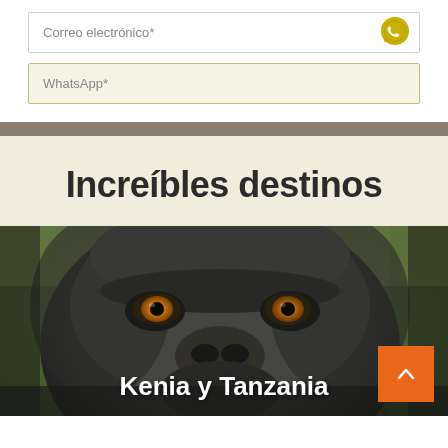Correo electrónico*
WhatsApp*
Increíbles destinos
[Figure (photo): Close-up photo of a gorilla face with amber/yellow eyes, dark grey fur, against a blurred green background. Caption reads Kenia y Tanzania.]
Kenia y Tanzania